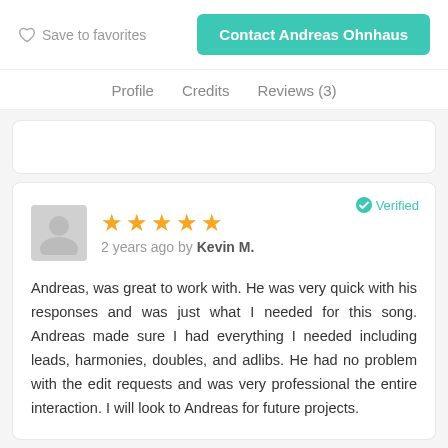Save to favorites
Contact Andreas Ohnhaus
Profile   Credits   Reviews (3)
Verified
★★★★★  2 years ago by Kevin M.
Andreas, was great to work with. He was very quick with his responses and was just what I needed for this song. Andreas made sure I had everything I needed including leads, harmonies, doubles, and adlibs. He had no problem with the edit requests and was very professional the entire interaction. I will look to Andreas for future projects.